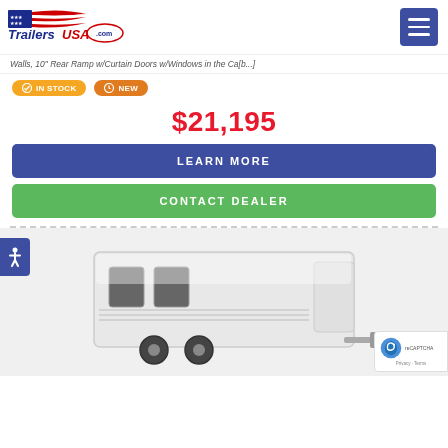[Figure (logo): TrailersUSA.com logo with American flag motif]
Walls, 10" Rear Ramp w/Curtain Doors w/Windows in the Ca[b...]
IN STOCK
NEW
$21,195
LEARN MORE
CONTACT DEALER
[Figure (photo): White horse trailer with dual axle, windows and ramp door, side view]
Privacy · Terms